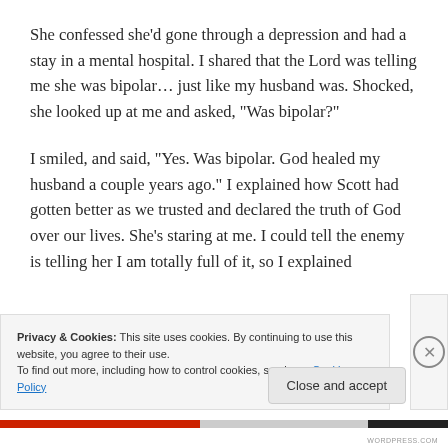She confessed she'd gone through a depression and had a stay in a mental hospital. I shared that the Lord was telling me she was bipolar… just like my husband was. Shocked, she looked up at me and asked, “Was bipolar?”
I smiled, and said, “Yes. Was bipolar. God healed my husband a couple years ago.” I explained how Scott had gotten better as we trusted and declared the truth of God over our lives. She’s staring at me. I could tell the enemy is telling her I am totally full of it, so I explained
Privacy & Cookies: This site uses cookies. By continuing to use this website, you agree to their use.
To find out more, including how to control cookies, see here: Cookie Policy
Close and accept